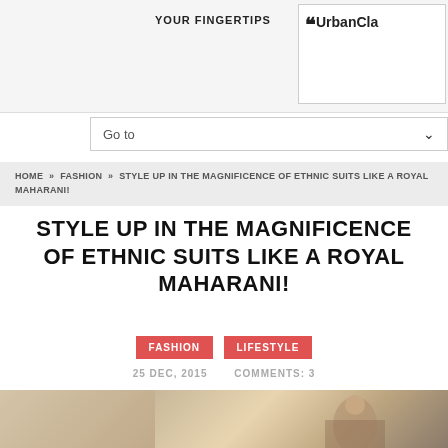YOUR FINGERTIPS | UrbanClap
Go to
HOME » FASHION » STYLE UP IN THE MAGNIFICENCE OF ETHNIC SUITS LIKE A ROYAL MAHARANI!
STYLE UP IN THE MAGNIFICENCE OF ETHNIC SUITS LIKE A ROYAL MAHARANI!
FASHION   LIFESTYLE
25 DEC, 2015   COMMENTS: 3
[Figure (photo): Woman in ethnic suit/saree, golden/beige fabric background]